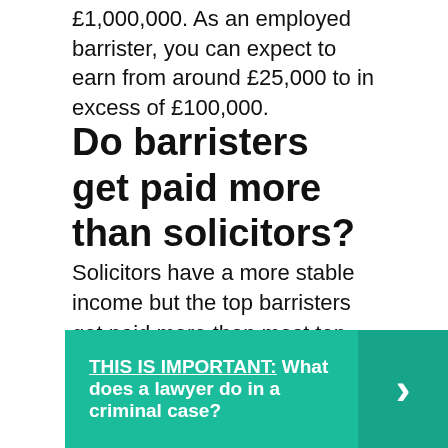£1,000,000. As an employed barrister, you can expect to earn from around £25,000 to in excess of £100,000.
Do barristers get paid more than solicitors?
Solicitors have a more stable income but the top barristers get paid more than most top solicitors; although the average solicitor may be paid more. Add to that the one year barristers have to spend in pupillage/deviling and the risks of taking the barrister path are higher.
THIS IS IMPORTANT:  What does a lawyer do in a criminal case?